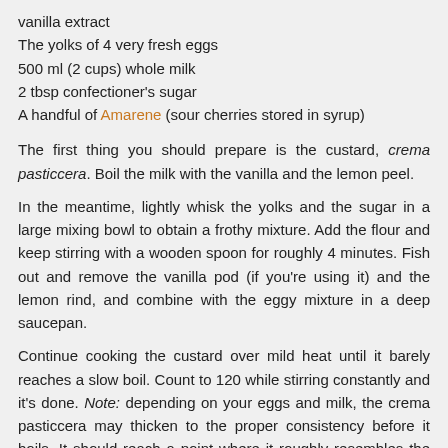vanilla extract
The yolks of 4 very fresh eggs
500 ml (2 cups) whole milk
2 tbsp confectioner's sugar
A handful of Amarene (sour cherries stored in syrup)
The first thing you should prepare is the custard, crema pasticcera. Boil the milk with the vanilla and the lemon peel.
In the meantime, lightly whisk the yolks and the sugar in a large mixing bowl to obtain a frothy mixture. Add the flour and keep stirring with a wooden spoon for roughly 4 minutes. Fish out and remove the vanilla pod (if you're using it) and the lemon rind, and combine with the eggy mixture in a deep saucepan.
Continue cooking the custard over mild heat until it barely reaches a slow boil. Count to 120 while stirring constantly and it's done. Note: depending on your eggs and milk, the crema pasticcera may thicken to the proper consistency before it boils. It should reach a point where it roughly resembles the texture of commercially sold firm yogurt.